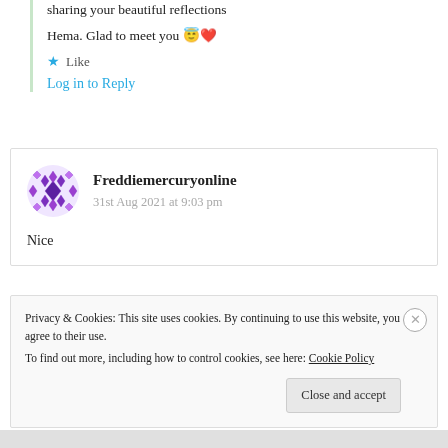sharing your beautiful reflections
Hema. Glad to meet you 😇❤️
★ Like
Log in to Reply
Freddiemercuryonline
31st Aug 2021 at 9:03 pm
Nice
Privacy & Cookies: This site uses cookies. By continuing to use this website, you agree to their use.
To find out more, including how to control cookies, see here: Cookie Policy
Close and accept